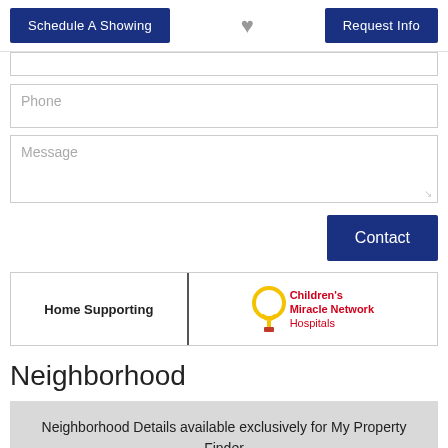[Figure (screenshot): Page header with two blue buttons: 'Schedule A Showing' on left, heart icon in center, 'Request Info' on right]
Phone
Message
[Figure (other): Contact button (dark blue) aligned right]
[Figure (logo): Home Supporting | Children's Miracle Network Hospitals logo]
Neighborhood
Neighborhood Details available exclusively for My Property Finder members